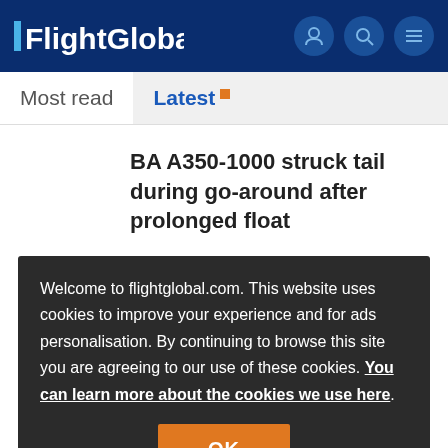FlightGlobal
Most read | Latest
BA A350-1000 struck tail during go-around after prolonged float
Welcome to flightglobal.com. This website uses cookies to improve your experience and for ads personalisation. By continuing to browse this site you are agreeing to our use of these cookies. You can learn more about the cookies we use here.
Thai A350 sank far below glideslope after